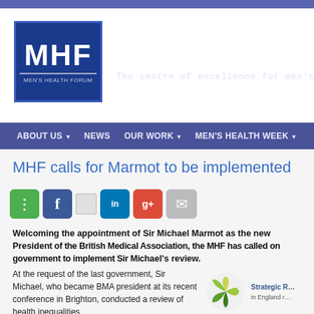[Figure (logo): Men's Health Forum (MHF) website header banner with MHF logo box and title 'MEN'S HEALTH F' with tagline 'The centre of excellence for men's health p']
ABOUT US ▾   NEWS   OUR WORK ▾   MEN'S HEALTH WEEK ▾
MHF calls for Marmot to be implemented
[Figure (infographic): Social sharing buttons row: share (green), Facebook (blue), image icon, LinkedIn (teal), Google+ (red), email (grey)]
Welcoming the appointment of Sir Michael Marmot as the new President of the British Medical Association, the MHF has called on government to implement Sir Michael's review.
At the request of the last government, Sir Michael, who became BMA president at its recent conference in Brighton, conducted a review of health inequalities leading to the report Fair Society, Healthy
[Figure (logo): Strategic Review logo - circular design with green and yellow leaf/fan shapes, text 'Strategic R... in England r...']